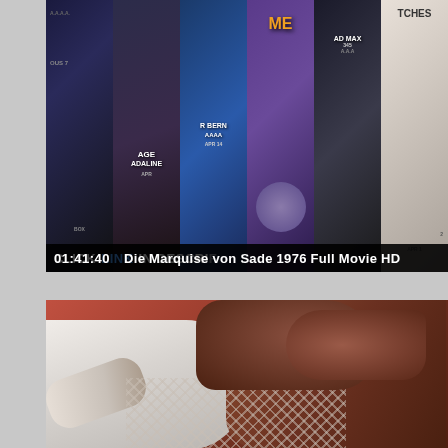[Figure (screenshot): Screenshot of movie poster collage showing multiple film posters including 'The Age of Adaline', animated film, 'Mad Max', and others, with text overlay reading 'CLICK LINK IN DESCRI[PTION]']
01:41:40   Die Marquise von Sade 1976 Full Movie HD
[Figure (screenshot): Screenshot of a romantic scene showing two people kissing, one wearing a white shirt and the other in a mesh/net top, with warm reddish tones]